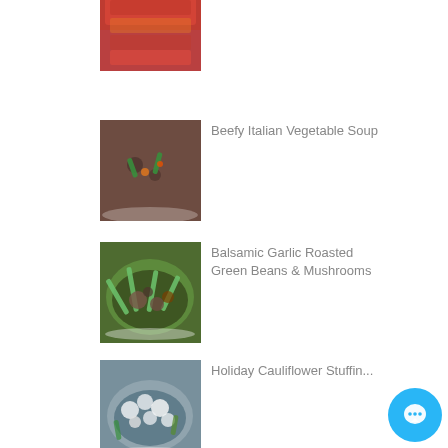[Figure (photo): No-Pasta Lasagna food photo, partially visible at top]
No-Pasta Lasagna
[Figure (photo): Beefy Italian Vegetable Soup in a bowl]
Beefy Italian Vegetable Soup
[Figure (photo): Balsamic Garlic Roasted Green Beans & Mushrooms in a bowl]
Balsamic Garlic Roasted Green Beans & Mushrooms
[Figure (photo): Holiday Cauliflower Stuffing dish, partially visible]
Holiday Cauliflower Stuffin...
[Figure (other): Chat/message button icon, cyan circle with speech bubble]